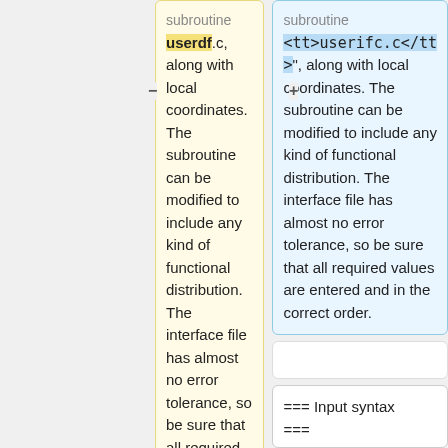subroutine userdf.c, along with local coordinates. The subroutine can be modified to include any kind of functional distribution. The interface file has almost no error tolerance, so be sure that all required values are entered and in the correct order.
subroutine <tt>userifc.c</tt>", along with local coordinates. The subroutine can be modified to include any kind of functional distribution. The interface file has almost no error tolerance, so be sure that all required values are entered and in the correct order.
=== Input syntax ===
=== Input syntax ===